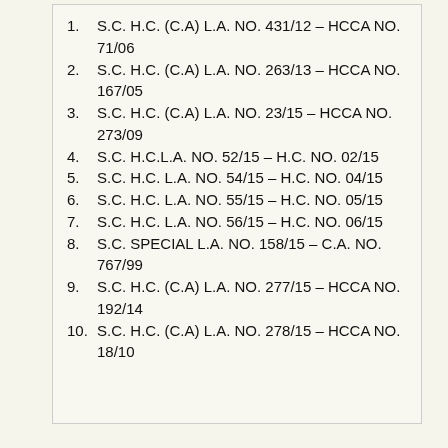1.    S.C. H.C. (C.A) L.A. NO. 431/12 – HCCA NO. 71/06
2.    S.C. H.C. (C.A) L.A. NO. 263/13 – HCCA NO. 167/05
3.    S.C. H.C. (C.A) L.A. NO. 23/15 – HCCA NO. 273/09
4.    S.C. H.C.L.A. NO. 52/15 – H.C. NO. 02/15
5.    S.C. H.C. L.A. NO. 54/15 – H.C. NO. 04/15
6.    S.C. H.C. L.A. NO. 55/15 – H.C. NO. 05/15
7.    S.C. H.C. L.A. NO. 56/15 – H.C. NO. 06/15
8.    S.C. SPECIAL L.A. NO. 158/15 – C.A. NO. 767/99
9.    S.C. H.C. (C.A) L.A. NO. 277/15 – HCCA NO. 192/14
10.    S.C. H.C. (C.A) L.A. NO. 278/15 – HCCA NO. 18/10